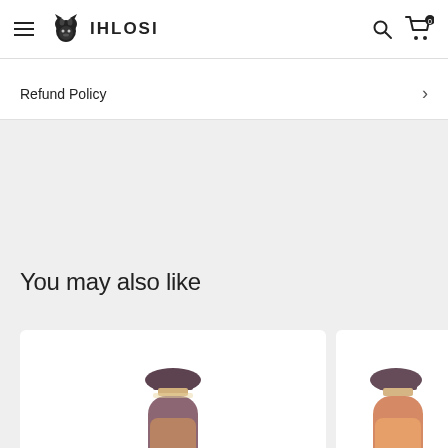IHLOSI
Refund Policy
You may also like
[Figure (photo): Two product bottles of Ihlosi sauce partially visible in a product recommendation carousel]
[Figure (logo): Ihlosi brand logo with leopard/panther head graphic and brand name text]